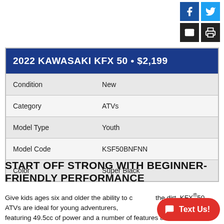[Figure (other): Social media and utility icons (Facebook, Twitter, Email, Print) arranged in a 2x2 grid in the top right corner]
| 2022 KAWASAKI KFX 50 • $2,199 |  |
| --- | --- |
| Condition | New |
| Category | ATVs |
| Model Type | Youth |
| Model Code | KSF50BNFNN |
| Color | Super Black |
START OFF STRONG WITH BEGINNER-FRIENDLY PERFORMANCE
Give kids ages six and older the ability to conquer the dirt. KFX®50 ATVs are ideal for young adventurers, featuring 49.5cc of power and a number of features that